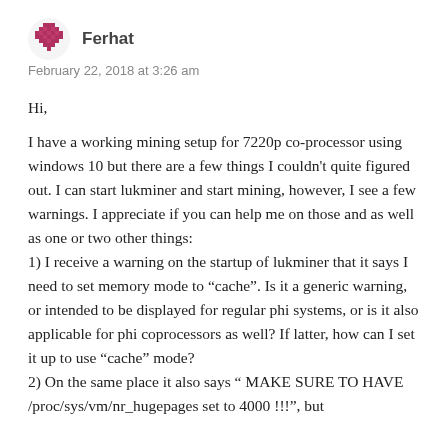Ferhat
February 22, 2018 at 3:26 am
Hi,

I have a working mining setup for 7220p co-processor using windows 10 but there are a few things I couldn't quite figured out. I can start lukminer and start mining, however, I see a few warnings. I appreciate if you can help me on those and as well as one or two other things:
1) I receive a warning on the startup of lukminer that it says I need to set memory mode to “cache”. Is it a generic warning, or intended to be displayed for regular phi systems, or is it also applicable for phi coprocessors as well? If latter, how can I set it up to use “cache” mode?
2) On the same place it also says “ MAKE SURE TO HAVE /proc/sys/vm/nr_hugepages set to 4000 !!!”, but